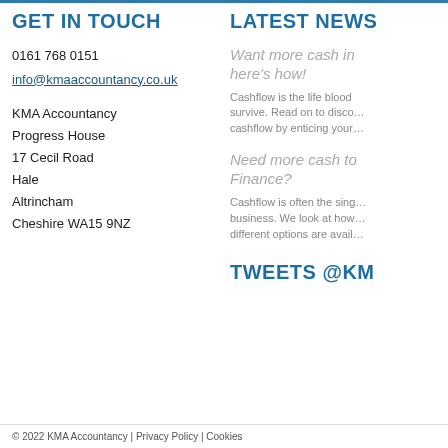GET IN TOUCH
0161 768 0151
info@kmaaccountancy.co.uk
KMA Accountancy
Progress House
17 Cecil Road
Hale
Altrincham
Cheshire WA15 9NZ
LATEST NEWS
Want more cash in your pocket – here's how!
Cashflow is the life blood of any business to survive. Read on to discover how to improve your cashflow by enticing your…
Need more cash to grow? Consider Finance?
Cashflow is often the single biggest issue for any business. We look at how to tackle this and what different options are avail…
TWEETS @KM
© 2022 KMA Accountancy | Privacy Policy | Cookies